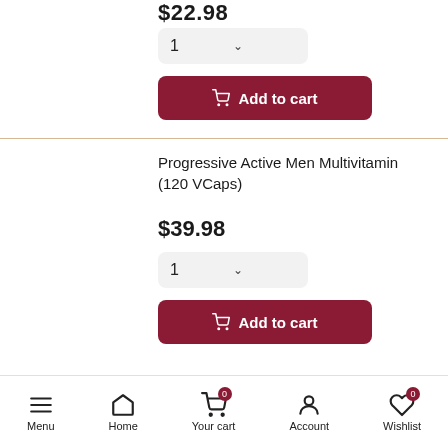$22.98
1
Add to cart
Progressive Active Men Multivitamin (120 VCaps)
$39.98
1
Add to cart
Menu  Home  Your cart  Account  Wishlist